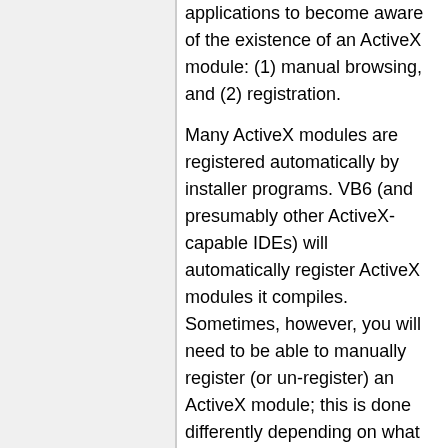applications to become aware of the existence of an ActiveX module: (1) manual browsing, and (2) registration.
Many ActiveX modules are registered automatically by installer programs. VB6 (and presumably other ActiveX-capable IDEs) will automatically register ActiveX modules it compiles. Sometimes, however, you will need to be able to manually register (or un-register) an ActiveX module; this is done differently depending on what type of module you are dealing with:
ActiveX DLLs: use the program RegSvr32.exe, which is provided as part of Windows 95, 98, 2000, and presumably later versions as well.
ActiveX EXEs: use the /regserver and /unregserver command-line